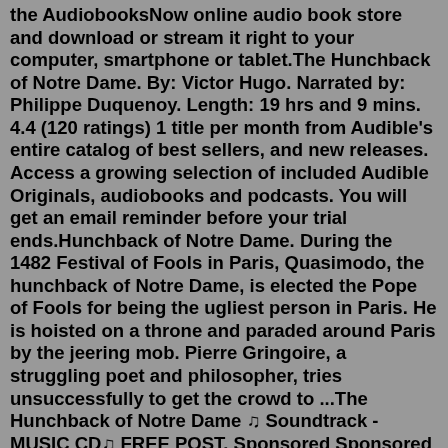the AudiobooksNow online audio book store and download or stream it right to your computer, smartphone or tablet.The Hunchback of Notre Dame. By: Victor Hugo. Narrated by: Philippe Duquenoy. Length: 19 hrs and 9 mins. 4.4 (120 ratings) 1 title per month from Audible's entire catalog of best sellers, and new releases. Access a growing selection of included Audible Originals, audiobooks and podcasts. You will get an email reminder before your trial ends.Hunchback of Notre Dame. During the 1482 Festival of Fools in Paris, Quasimodo, the hunchback of Notre Dame, is elected the Pope of Fools for being the ugliest person in Paris. He is hoisted on a throne and paraded around Paris by the jeering mob. Pierre Gringoire, a struggling poet and philosopher, tries unsuccessfully to get the crowd to ...The Hunchback of Notre Dame ♫ Soundtrack - MUSIC CD♫ FREE POST. Sponsored Sponsored Sponsored. AU $19.95 ... Les Misérables & Hunchback Notre Dame Victor Hugo CD Audio Book Brand New Sealed. New New New. AU $29.80 + AU $17.14 postage + AU $17.14